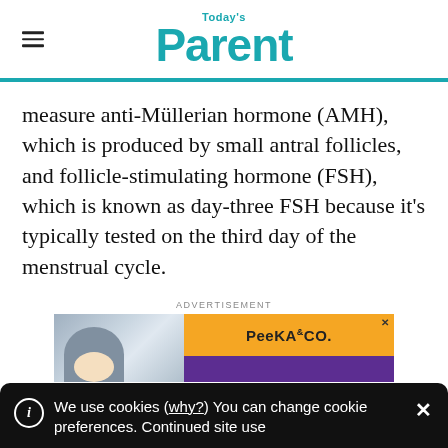Today's Parent
measure anti-Müllerian hormone (AMH), which is produced by small antral follicles, and follicle-stimulating hormone (FSH), which is known as day-three FSH because it's typically tested on the third day of the menstrual cycle.
ADVERTISEMENT
[Figure (photo): Advertisement banner for Peeka & Co. showing a child on the left side and the brand name on an orange and purple background.]
We use cookies (why?) You can change cookie preferences. Continued site use